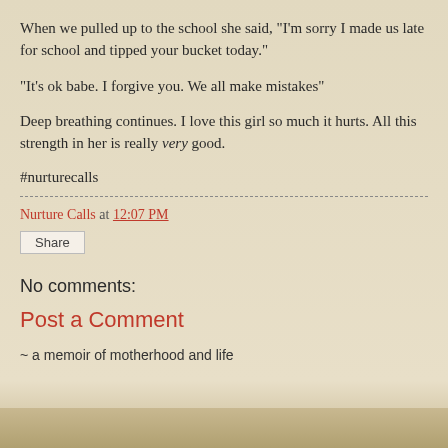When we pulled up to the school she said, "I'm sorry I made us late for school and tipped your bucket today."
"It's ok babe. I forgive you. We all make mistakes"
Deep breathing continues. I love this girl so much it hurts. All this strength in her is really very good.
#nurturecalls
Nurture Calls at 12:07 PM
Share
No comments:
Post a Comment
~ a memoir of motherhood and life